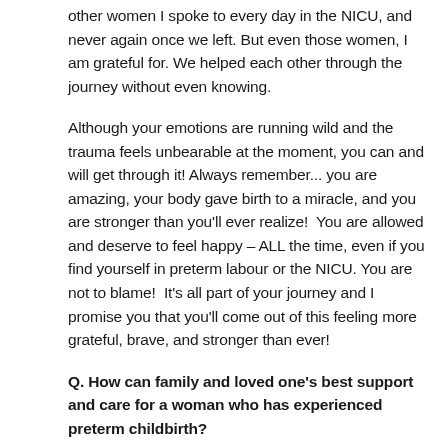other women I spoke to every day in the NICU, and never again once we left. But even those women, I am grateful for. We helped each other through the journey without even knowing.
Although your emotions are running wild and the trauma feels unbearable at the moment, you can and will get through it! Always remember... you are amazing, your body gave birth to a miracle, and you are stronger than you'll ever realize!  You are allowed and deserve to feel happy – ALL the time, even if you find yourself in preterm labour or the NICU. You are not to blame!  It's all part of your journey and I promise you that you'll come out of this feeling more grateful, brave, and stronger than ever!
Q. How can family and loved one's best support and care for a woman who has experienced preterm childbirth?
Leaving the hospital and being at home without your baby is one of the hardest things a new mom will go through. In